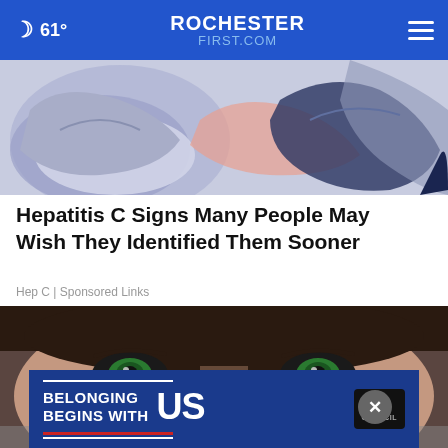🌙 61° | ROCHESTER FIRST.COM
[Figure (illustration): Colorful abstract illustration showing stylized reclining figures in muted blue, pink, and navy tones]
Hepatitis C Signs Many People May Wish They Identified Them Sooner
Hep C | Sponsored Links
[Figure (photo): Close-up photo of a woman with green eyes applying white cream/product under her eyes with a brush]
[Figure (infographic): Ad banner: 'BELONGING BEGINS WITH US' with Ad Council badge logo on dark blue background]